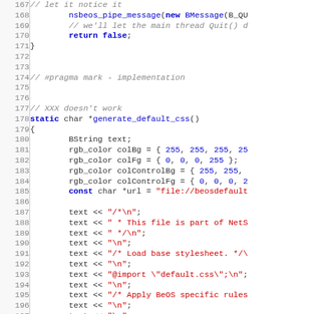[Figure (screenshot): Source code listing in C++ showing lines 167-197 of a file. Line numbers on the left in gray, code on the right with syntax highlighting: keywords in blue, strings in red, comments in gray italic.]